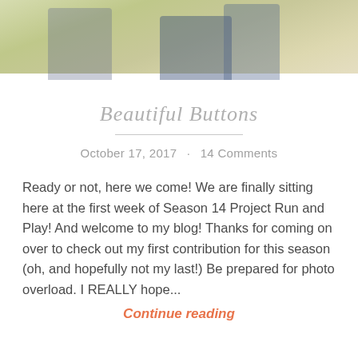[Figure (photo): Top portion of a photograph showing people standing in a grassy field, cropped at the top of the page]
Beautiful Buttons
October 17, 2017 · 14 Comments
Ready or not, here we come! We are finally sitting here at the first week of Season 14 Project Run and Play! And welcome to my blog! Thanks for coming on over to check out my first contribution for this season (oh, and hopefully not my last!) Be prepared for photo overload. I REALLY hope...
Continue reading